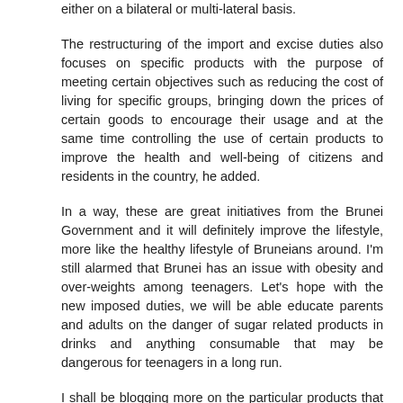either on a bilateral or multi-lateral basis.
The restructuring of the import and excise duties also focuses on specific products with the purpose of meeting certain objectives such as reducing the cost of living for specific groups, bringing down the prices of certain goods to encourage their usage and at the same time controlling the use of certain products to improve the health and well-being of citizens and residents in the country, he added.
In a way, these are great initiatives from the Brunei Government and it will definitely improve the lifestyle, more like the healthy lifestyle of Bruneians around. I'm still alarmed that Brunei has an issue with obesity and over-weights among teenagers. Let's hope with the new imposed duties, we will be able educate parents and adults on the danger of sugar related products in drinks and anything consumable that may be dangerous for teenagers in a long run.
I shall be blogging more on the particular products that will be affected by the new custom tax structure. Do see this as a positive note as this is also vital to the growth of the local economy and increasing the government revenue rather than relying on oil and gas for revenue.